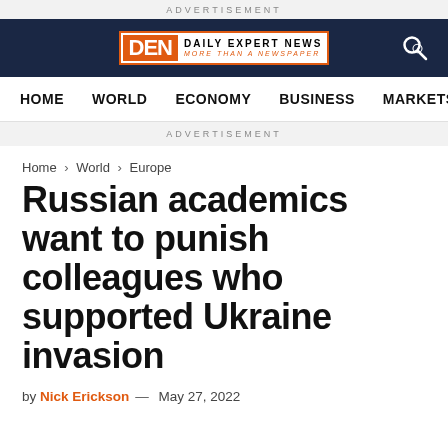ADVERTISEMENT
[Figure (logo): Daily Expert News logo with DEN initials in orange square, text DAILY EXPERT NEWS and MORE THAN A NEWSPAPER]
HOME  WORLD  ECONOMY  BUSINESS  MARKETS
ADVERTISEMENT
Home › World › Europe
Russian academics want to punish colleagues who supported Ukraine invasion
by Nick Erickson — May 27, 2022